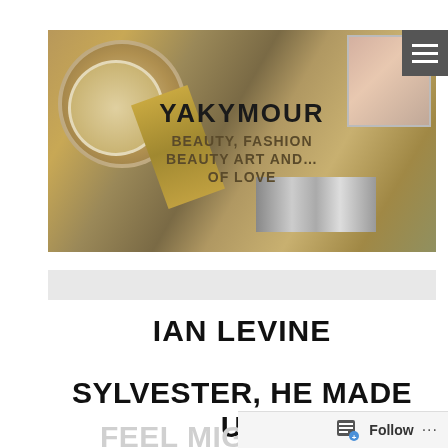[Figure (photo): Banner header image showing beauty and cosmetic products including powder compacts, perfume bottles, and lipsticks in gold tones, with text overlay reading YAKYMOUR, BEAUTY, FASHION, BEAUTY ART AND... OF LOVE]
YAKYMOUR
BEAUTY, FASHION
BEAUTY ART AND...
OF LOVE
IAN LEVINE
SYLVESTER, HE MADE US
FEEL MIGHTY RE...
[Figure (other): Follow button with document icon at bottom right]